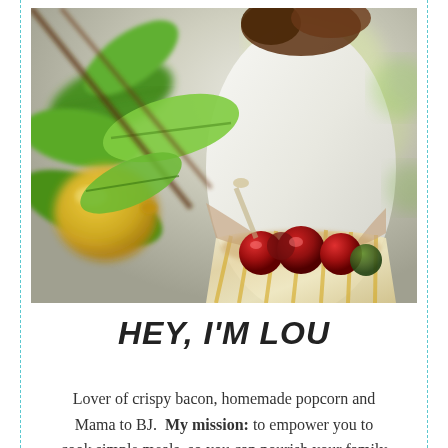[Figure (photo): A woman in a white top with yellow-striped apron holding a basket of red apples, photographed through green leafy branches with a yellow fruit (lemon/citrus) in the foreground. Outdoor, bright, natural light setting.]
HEY, I'M LOU
Lover of crispy bacon, homemade popcorn and Mama to BJ.  My mission: to empower you to cook simple meals, so you can nourish your family